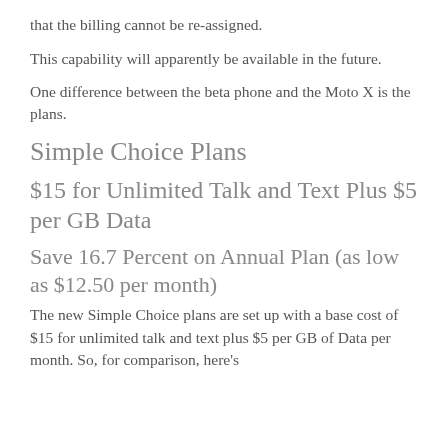that the billing cannot be re-assigned.
This capability will apparently be available in the future.
One difference between the beta phone and the Moto X is the plans.
Simple Choice Plans
$15 for Unlimited Talk and Text Plus $5 per GB Data
Save 16.7 Percent on Annual Plan (as low as $12.50 per month)
The new Simple Choice plans are set up with a base cost of $15 for unlimited talk and text plus $5 per GB of Data per month. So, for comparison, here's